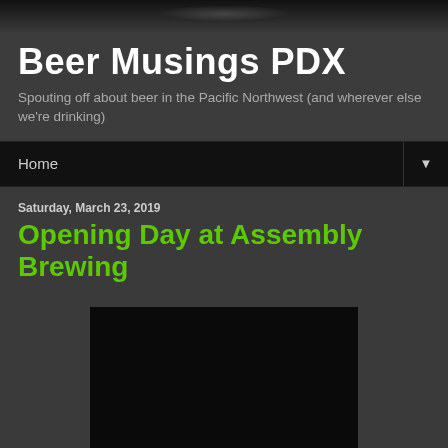[Figure (photo): Dark gradient banner at the top of the page, resembling a website header image with a subtle reflection or surface highlight]
Beer Musings PDX
Spouting off about beer in the Pacific Northwest (and wherever else we're drinking)
Home ▼
Saturday, March 23, 2019
Opening Day at Assembly Brewing
[Figure (photo): A large dark/black photograph, appears to be an image from Assembly Brewing on opening day, content not clearly visible due to darkness]